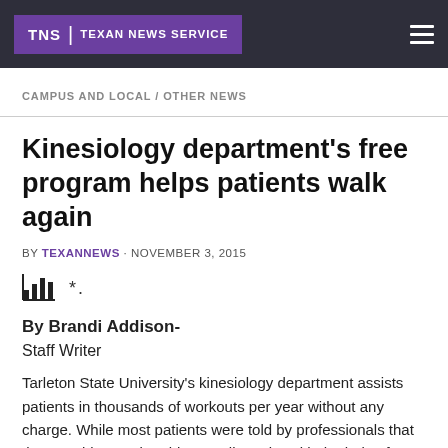TNS | TEXAN NEWS SERVICE
CAMPUS AND LOCAL / OTHER NEWS
Kinesiology department's free program helps patients walk again
BY TEXANNEWS · NOVEMBER 3, 2015
[Figure (other): Bar chart icon and share/bookmark icons]
By Brandi Addison-
Staff Writer
Tarleton State University's kinesiology department assists patients in thousands of workouts per year without any charge. While most patients were told by professionals that they would never be able to walk again, with the help of